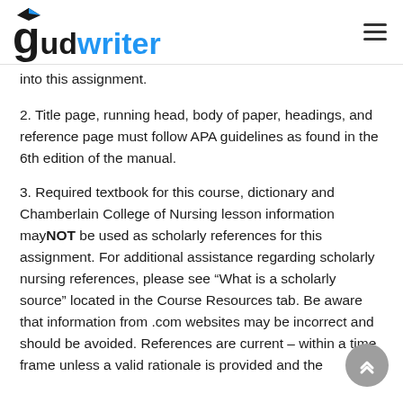gudwriter
into this assignment.
2. Title page, running head, body of paper, headings, and reference page must follow APA guidelines as found in the 6th edition of the manual.
3. Required textbook for this course, dictionary and Chamberlain College of Nursing lesson information mayNOT be used as scholarly references for this assignment. For additional assistance regarding scholarly nursing references, please see “What is a scholarly source” located in the Course Resources tab. Be aware that information from .com websites may be incorrect and should be avoided. References are current – within a time frame unless a valid rationale is provided and the